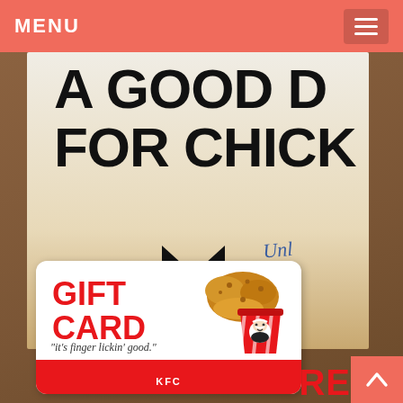MENU
[Figure (photo): A KFC promotional bag/poster with text 'A GOOD D FOR CHICK' visible, a bowtie graphic, handwritten text partially visible ('Unl... a...'), and a KFC Gift Card in the foreground showing 'GIFT CARD' in red with fried chicken image and KFC logo. The bottom right shows partial text 'RE' in red, with a scroll-up arrow button.]